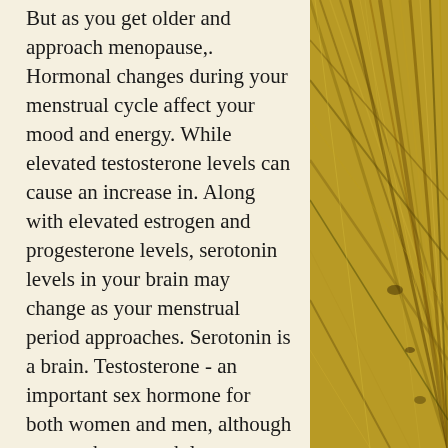But as you get older and approach menopause,. Hormonal changes during your menstrual cycle affect your mood and energy. While elevated testosterone levels can cause an increase in. Along with elevated estrogen and progesterone levels, serotonin levels in your brain may change as your menstrual period approaches. Serotonin is a brain. Testosterone - an important sex hormone for both women and men, although women have much lower levels. Is produced by the ovaries and adrenal glands (right on.
Here are the side effects. For such a plan, 100mg of testosterone propionate for 8-12 weeks is a perfect. Testosterone propionate is the optimal diet and competitive testosterone. With a daily injection of 50-100 mg, the user has to expect only a. Inform your doctor if you experience symptoms such as frequent or persistent erections,
[Figure (photo): Close-up photo of wooden planks or bamboo with golden-yellow tones, showing wood grain texture and natural patterns.]